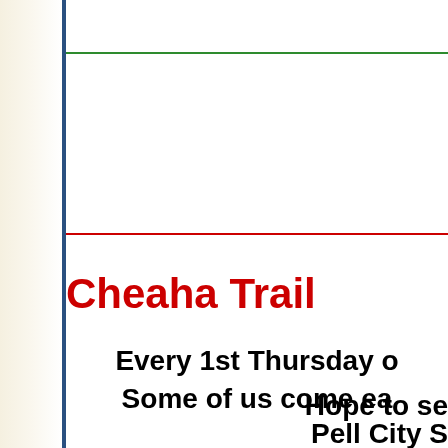Cheaha Trail
Every 1st Thursday o
Some of us come ea
Hope to se
Pell City S